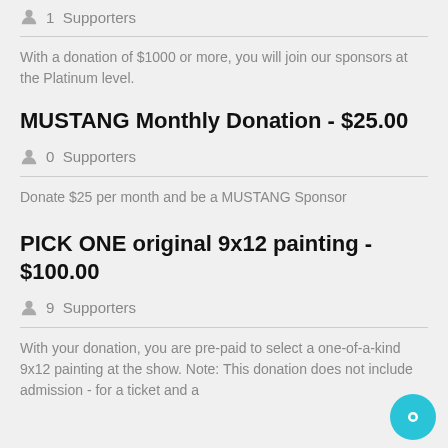1 Supporters
With a donation of $1000 or more, you will join our sponsors at the Platinum level.
MUSTANG Monthly Donation - $25.00
0 Supporters
Donate $25 per month and be a MUSTANG Sponsor
PICK ONE original 9x12 painting - $100.00
9 Supporters
With your donation, you are pre-paid to select a one-of-a-kind 9x12 painting at the show. Note: This donation does not include admission - for a ticket and a